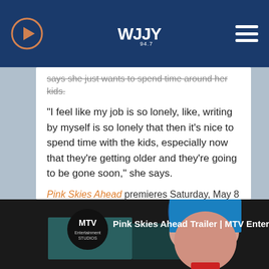WJJY - Radio station header with play button, logo, and menu
says she just wants to spend time around her kids.
“I feel like my job is so lonely, like, writing by myself is so lonely that then it’s nice to spend time with the kids, especially now that they’re getting older and they’re going to be gone soon,” she says.
Pink Skies Ahead premieres Saturday, May 8 at 9:00 p.m. ET/PT on MTV with a simulcast on Pop TV.
[Figure (screenshot): YouTube video thumbnail for 'Pink Skies Ahead Trailer | MTV Entertainment' showing a woman with blue hair, with MTV Entertainment Studios logo circle on the left]